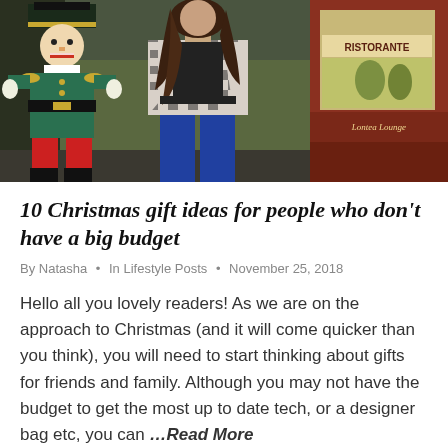[Figure (photo): A woman in a black and white houndstooth blazer and dark jeans standing next to a large colorful nutcracker soldier statue, with a restaurant storefront visible in the background.]
10 Christmas gift ideas for people who don't have a big budget
By Natasha • In Lifestyle Posts • November 25, 2018
Hello all you lovely readers! As we are on the approach to Christmas (and it will come quicker than you think), you will need to start thinking about gifts for friends and family. Although you may not have the budget to get the most up to date tech, or a designer bag etc, you can …Read More